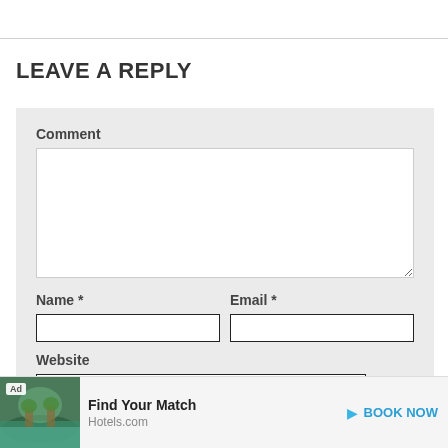LEAVE A REPLY
Comment
Name *
Email *
Website
[Figure (screenshot): Advertisement banner for Hotels.com: photo of resort pool, 'Ad' badge, 'Find Your Match' text, 'Hotels.com' source, 'BOOK NOW' call to action button]